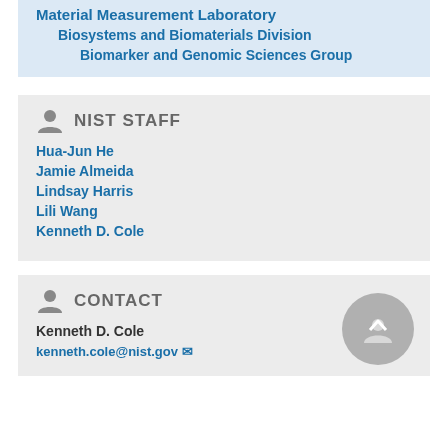Material Measurement Laboratory
Biosystems and Biomaterials Division
Biomarker and Genomic Sciences Group
NIST STAFF
Hua-Jun He
Jamie Almeida
Lindsay Harris
Lili Wang
Kenneth D. Cole
CONTACT
Kenneth D. Cole
kenneth.cole@nist.gov